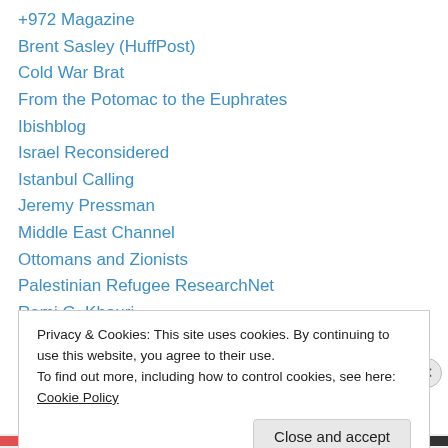+972 Magazine
Brent Sasley (HuffPost)
Cold War Brat
From the Potomac to the Euphrates
Ibishblog
Israel Reconsidered
Istanbul Calling
Jeremy Pressman
Middle East Channel
Ottomans and Zionists
Palestinian Refugee ResearchNet
Rami G. Khouri
South Jerusalem
Privacy & Cookies: This site uses cookies. By continuing to use this website, you agree to their use.
To find out more, including how to control cookies, see here: Cookie Policy
Close and accept